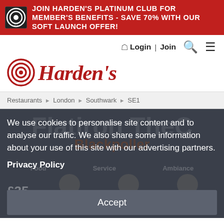JOIN HARDEN'S PLATINUM CLUB FOR MEMBER'S BENEFITS - SAVE 70% WITH OUR SOFT LAUNCH OFFER!
Login | Join
[Figure (logo): Harden's logo with target/bullseye icon and italic serif text]
Restaurants > London > Southwark > SE1
We use cookies to personalise site content and to analyse our traffic. We also share some information about your use of this site with our advertising partners.
Privacy Policy
Accept